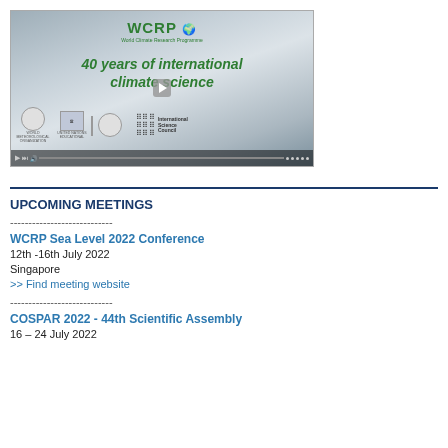[Figure (screenshot): WCRP video thumbnail showing '40 years of international climate science' with cloud background, WCRP logo, play button, and logos of WMO, UNESCO, IOC, and International Science Council]
UPCOMING MEETINGS
----------------------------
WCRP Sea Level 2022 Conference
12th -16th July 2022
Singapore
>> Find meeting website
----------------------------
COSPAR 2022 - 44th Scientific Assembly
16 – 24 July 2022